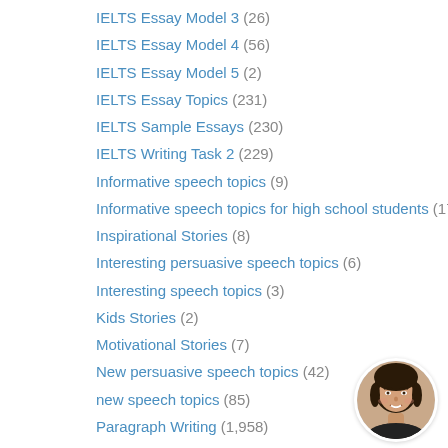IELTS Essay Model 3 (26)
IELTS Essay Model 4 (56)
IELTS Essay Model 5 (2)
IELTS Essay Topics (231)
IELTS Sample Essays (230)
IELTS Writing Task 2 (229)
Informative speech topics (9)
Informative speech topics for high school students (17)
Inspirational Stories (8)
Interesting persuasive speech topics (6)
Interesting speech topics (3)
Kids Stories (2)
Motivational Stories (7)
New persuasive speech topics (42)
new speech topics (85)
Paragraph Writing (1,958)
Persuasive essay topics (1,966)
Persuasive speech examples (11)
[Figure (photo): Circular avatar photo of a smiling young woman with dark hair]